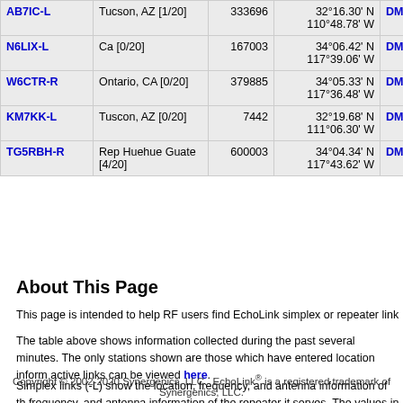| Callsign | Location | Node | Coordinates | Grid | Freq |
| --- | --- | --- | --- | --- | --- |
| AB7IC-L | Tucson, AZ [1/20] | 333696 | 32°16.30' N 110°48.78' W | DM42dg | 7029.2 |
| N6LIX-L | Ca [0/20] | 167003 | 34°06.42' N 117°39.06' W | DM14ec | 7029.4 |
| W6CTR-R | Ontario, CA [0/20] | 379885 | 34°05.33' N 117°36.48' W | DM14ec | 7030.0 |
| KM7KK-L | Tuscon, AZ [0/20] | 7442 | 32°19.68' N 111°06.30' W | DM42kh | 7031.7 |
| TG5RBH-R | Rep Huehue Guate [4/20] | 600003 | 34°04.34' N 117°43.62' W | DM14db | 7032.8 |
About This Page
This page is intended to help RF users find EchoLink simplex or repeater link
The table above shows information collected during the past several minutes. The only stations shown are those which have entered location information. active links can be viewed here.
Simplex links (-L) show the location, frequency, and antenna information of the frequency, and antenna information of the repeater it serves. The values in th
Copyright © 2002-2020 Synergenics, LLC. EchoLink® is a registered trademark of Synergenics, LLC.